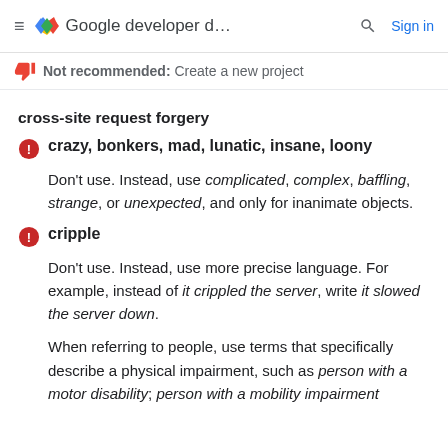≡ <> Google developer d… 🔍 Sign in
👎 Not recommended: Create a new project
cross-site request forgery
crazy, bonkers, mad, lunatic, insane, loony — Don't use. Instead, use complicated, complex, baffling, strange, or unexpected, and only for inanimate objects.
cripple — Don't use. Instead, use more precise language. For example, instead of it crippled the server, write it slowed the server down. When referring to people, use terms that specifically describe a physical impairment, such as person with a motor disability; person with a mobility impairment